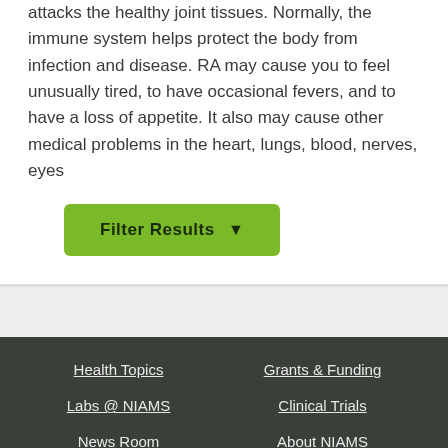attacks the healthy joint tissues. Normally, the immune system helps protect the body from infection and disease. RA may cause you to feel unusually tired, to have occasional fevers, and to have a loss of appetite. It also may cause other medical problems in the heart, lungs, blood, nerves, eyes
Filter Results ▼
Health Topics
Grants & Funding
Labs @ NIAMS
Clinical Trials
News Room
About NIAMS
Subscribe to Our E-Newsletter